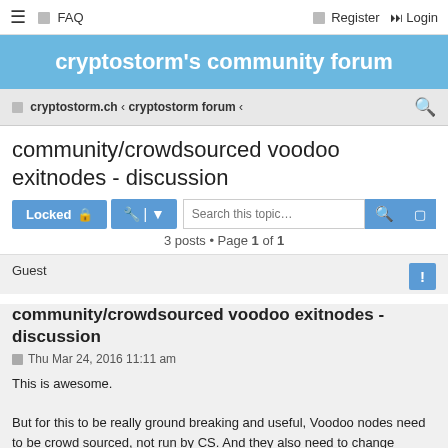≡  FAQ    Register  Login
cryptostorm's community forum
cryptostorm.ch ‹ cryptostorm forum ‹
community/crowdsourced voodoo exitnodes - discussion
3 posts • Page 1 of 1
Guest
community/crowdsourced voodoo exitnodes - discussion
Thu Mar 24, 2016 11:11 am
This is awesome.

But for this to be really ground breaking and useful, Voodoo nodes need to be crowd sourced, not run by CS. And they also need to change repeatedly and not be fixed for the whole session of the user, to prevent